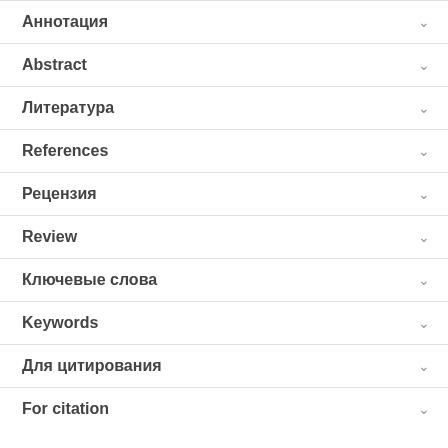Аннотация
Abstract
Литература
References
Рецензия
Review
Ключевые слова
Keywords
Для цитирования
For citation
A commercial name (an advertising namein the ...